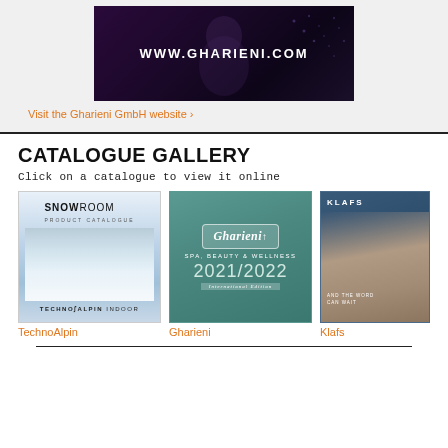[Figure (illustration): Dark purple/navy banner with WWW.GHARIENI.COM text and decorative dot pattern]
Visit the Gharieni GmbH website ›
CATALOGUE GALLERY
Click on a catalogue to view it online
[Figure (photo): TechnoAlpin SNOWROOM PRODUCT CATALOGUE cover — white/blue snow texture with TechnoAlpin Indoor logo]
TechnoAlpin
[Figure (photo): Gharieni SPA, BEAUTY & WELLNESS 2021/2022 International Edition catalogue cover — teal background]
Gharieni
[Figure (photo): Klafs catalogue cover — close-up portrait of woman in blue tones with KLAFS logo]
Klafs